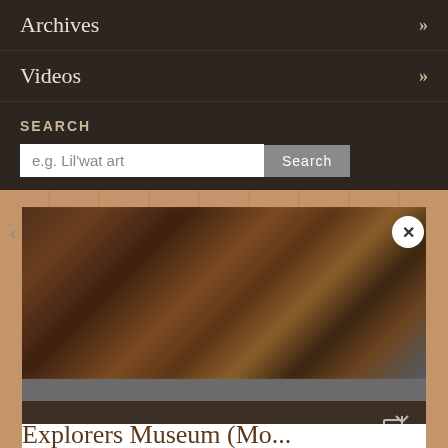Archives »
Videos »
SEARCH
e.g. Lil'wat art
[Figure (photo): Blurred photograph showing what appears to be indigenous artifacts or cultural items in warm brown tones]
Photographic Collections
Explorers Museum (More Th...